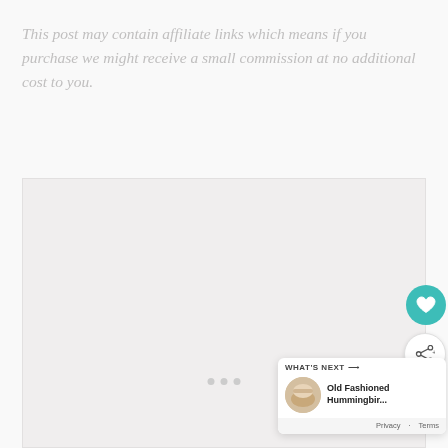This post may contain affiliate links which means if you purchase we might receive a small commission at no additional cost to you.
[Figure (photo): Large light-colored image placeholder with navigation dots at the bottom center, a teal heart/favorite button and a white share button on the right side, and a 'What's Next' recommendation panel in the bottom-right corner showing 'Old Fashioned Hummingbir...' with a food thumbnail.]